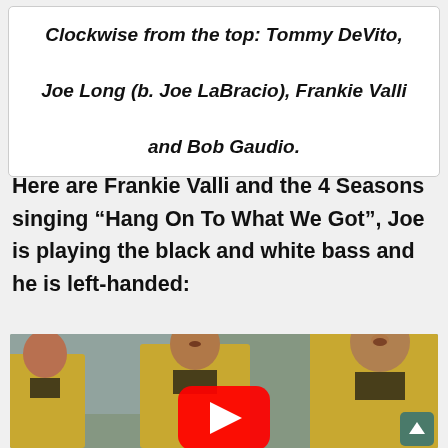Clockwise from the top: Tommy DeVito, Joe Long (b. Joe LaBracio), Frankie Valli and Bob Gaudio.
Here are Frankie Valli and the 4 Seasons singing “Hang On To What We Got”, Joe is playing the black and white bass and he is left-handed:
[Figure (photo): Video thumbnail showing Frankie Valli and the 4 Seasons performing, wearing yellow jackets. A YouTube play button is visible in the center. A green scroll-to-top button is in the bottom right.]